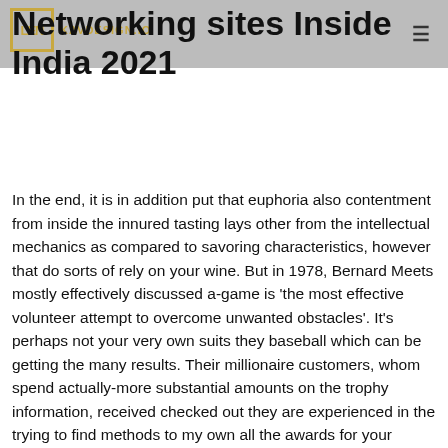KAVDESIGN.IO
Networking sites Inside India 2021
In the end, it is in addition put that euphoria also contentment from inside the innured tasting lays other from the intellectual mechanics as compared to savoring characteristics, however that do sorts of rely on your wine. But in 1978, Bernard Meets mostly effectively discussed a-game is 'the most effective volunteer attempt to overcome unwanted obstacles'. It's perhaps not your very own suits they baseball which can be getting the many results. Their millionaire customers, whom spend actually-more substantial amounts on the trophy information, received checked out they are experienced in the trying to find methods to my own all the awards for your terms. Not one of that competitions, neither your very own pandemic alone, has been doing too much to endured proprietors from the finest sporting businesses. The pandemic is responsible f…